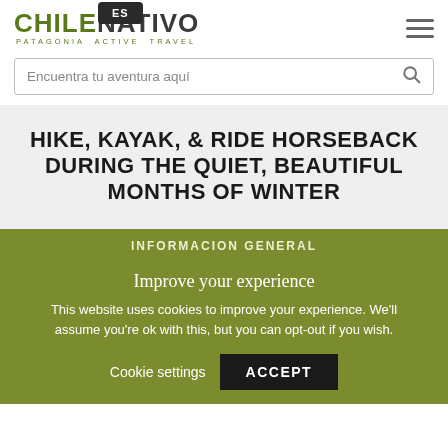ES | CHILE NATIVO PATAGONIA ACTIVE TRAVEL
Encuentra tu aventura aquí
HIKE, KAYAK, & RIDE HORSEBACK DURING THE QUIET, BEAUTIFUL MONTHS OF WINTER
INFORMACION GENERAL
Improve your experience
This website uses cookies to improve your experience. We'll assume you're ok with this, but you can opt-out if you wish.
Cookie settings | ACCEPT